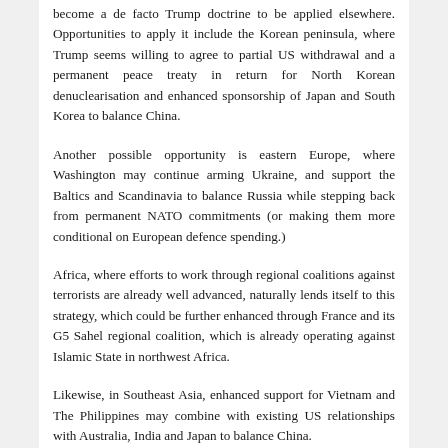become a de facto Trump doctrine to be applied elsewhere. Opportunities to apply it include the Korean peninsula, where Trump seems willing to agree to partial US withdrawal and a permanent peace treaty in return for North Korean denuclearisation and enhanced sponsorship of Japan and South Korea to balance China.
Another possible opportunity is eastern Europe, where Washington may continue arming Ukraine, and support the Baltics and Scandinavia to balance Russia while stepping back from permanent NATO commitments (or making them more conditional on European defence spending.)
Africa, where efforts to work through regional coalitions against terrorists are already well advanced, naturally lends itself to this strategy, which could be further enhanced through France and its G5 Sahel regional coalition, which is already operating against Islamic State in northwest Africa.
Likewise, in Southeast Asia, enhanced support for Vietnam and The Philippines may combine with existing US relationships with Australia, India and Japan to balance China.